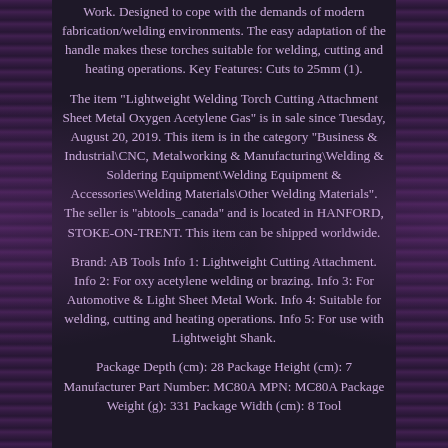Work. Designed to cope with the demands of modern fabrication/welding environments. The easy adaptation of the handle makes these torches suitable for welding, cutting and heating operations. Key Features: Cuts to 25mm (1).
The item "Lightweight Welding Torch Cutting Attachment Sheet Metal Oxygen Acetylene Gas" is in sale since Tuesday, August 20, 2019. This item is in the category "Business & Industrial\CNC, Metalworking & Manufacturing\Welding & Soldering Equipment\Welding Equipment & Accessories\Welding Materials\Other Welding Materials". The seller is "abtools_canada" and is located in HANFORD, STOKE-ON-TRENT. This item can be shipped worldwide.
Brand: AB Tools Info 1: Lightweight Cutting Attachment. Info 2: For oxy acetylene welding or brazing. Info 3: For Automotive & Light Sheet Metal Work. Info 4: Suitable for welding, cutting and heating operations. Info 5: For use with Lightweight Shank.
Package Depth (cm): 28 Package Height (cm): 7 Manufacturer Part Number: MC80A MPN: MC80A Package Weight (g): 331 Package Width (cm): 8 Tool